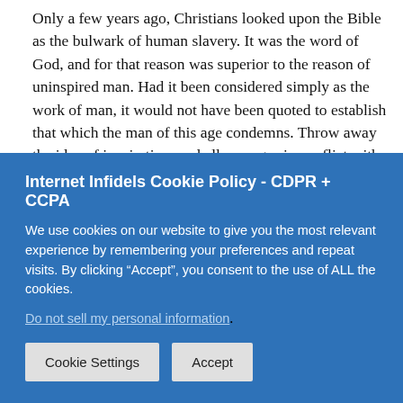Only a few years ago, Christians looked upon the Bible as the bulwark of human slavery. It was the word of God, and for that reason was superior to the reason of uninspired man. Had it been considered simply as the work of man, it would not have been quoted to establish that which the man of this age condemns. Throw away the idea of inspiration, and all passages in conflict with liberty, with science, with the experience of the intelligent part of the human race, instantly become harmless. They are no longer guides for man. They are simply the opinions of dead barbarians. The good passages not only remain, but their influence is increased, because they are relieved of a burden.

No one cares whether the truth is inspired or not. The truth is
Internet Infidels Cookie Policy - CDPR + CCPA
We use cookies on our website to give you the most relevant experience by remembering your preferences and repeat visits. By clicking “Accept”, you consent to the use of ALL the cookies.
Do not sell my personal information.